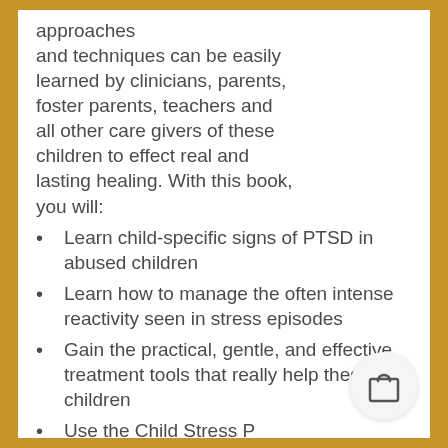approaches and techniques can be easily learned by clinicians, parents, foster parents, teachers and all other care givers of these children to effect real and lasting healing. With this book, you will:
Learn child-specific signs of PTSD in abused children
Learn how to manage the often intense reactivity seen in stress episodes
Gain the practical, gentle, and effective treatment tools that really help these children
Use the Child Stress P (CSP) to guide treatment measure outcomes
Deploy handy 'Quick Teach